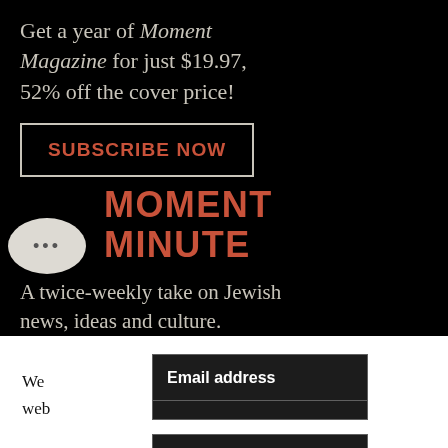Get a year of Moment Magazine for just $19.97, 52% off the cover price!
SUBSCRIBE NOW
MOMENT MINUTE
A twice-weekly take on Jewish news, ideas and culture.
We ... our web ... our
Email address
First name